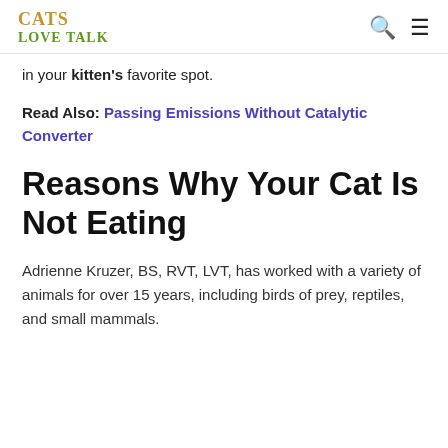CATS LOVE TALK
in your kitten's favorite spot.
Read Also: Passing Emissions Without Catalytic Converter
Reasons Why Your Cat Is Not Eating
Adrienne Kruzer, BS, RVT, LVT, has worked with a variety of animals for over 15 years, including birds of prey, reptiles, and small mammals.